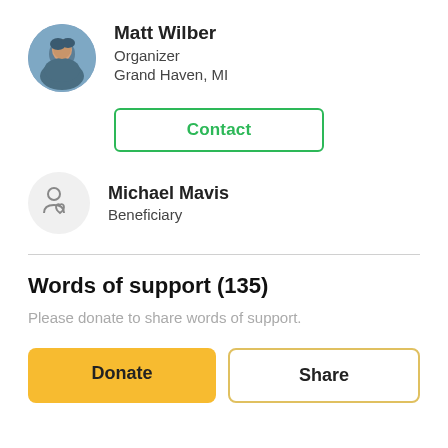[Figure (photo): Circular profile photo of Matt Wilber]
Matt Wilber
Organizer
Grand Haven, MI
Contact
[Figure (illustration): Generic beneficiary icon — person with heart]
Michael Mavis
Beneficiary
Words of support (135)
Please donate to share words of support.
Donate
Share